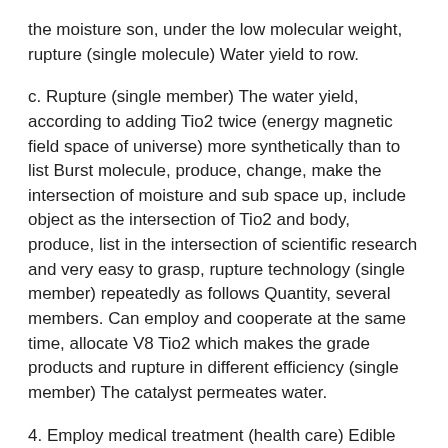the moisture son, under the low molecular weight, rupture (single molecule) Water yield to row.
c. Rupture (single member) The water yield, according to adding Tio2 twice (energy magnetic field space of universe) more synthetically than to list Burst molecule, produce, change, make the intersection of moisture and sub space up, include object as the intersection of Tio2 and body, produce, list in the intersection of scientific research and very easy to grasp, rupture technology (single member) repeatedly as follows Quantity, several members. Can employ and cooperate at the same time, allocate V8 Tio2 which makes the grade products and rupture in different efficiency (single member) The catalyst permeates water.
4. Employ medical treatment (health care) Edible water and injecting, permeating the pore of hair, can solve the biohazard waste problem in the future as follows.